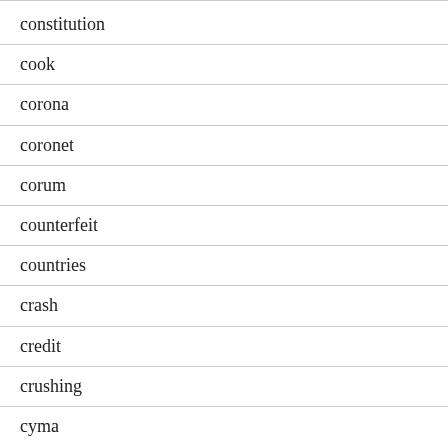constitution
cook
corona
coronet
corum
counterfeit
countries
crash
credit
crushing
cyma